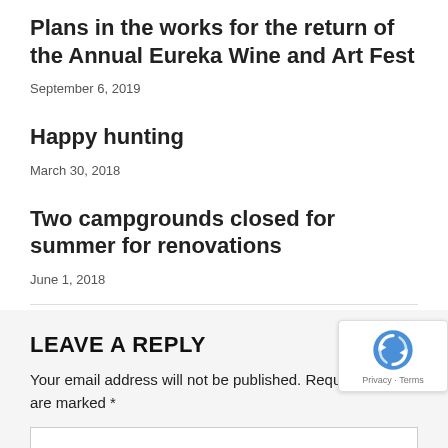Plans in the works for the return of the Annual Eureka Wine and Art Fest
September 6, 2019
Happy hunting
March 30, 2018
Two campgrounds closed for summer for renovations
June 1, 2018
LEAVE A REPLY
Your email address will not be published. Required fields are marked *
COMMENT